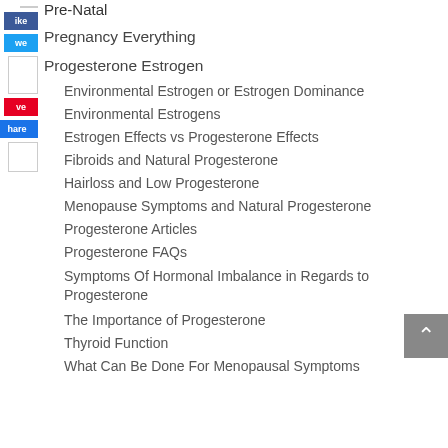Pre-Natal
Pregnancy Everything
Progesterone Estrogen
Environmental Estrogen or Estrogen Dominance
Environmental Estrogens
Estrogen Effects vs Progesterone Effects
Fibroids and Natural Progesterone
Hairloss and Low Progesterone
Menopause Symptoms and Natural Progesterone
Progesterone Articles
Progesterone FAQs
Symptoms Of Hormonal Imbalance in Regards to Progesterone
The Importance of Progesterone
Thyroid Function
What Can Be Done For Menopausal Symptoms